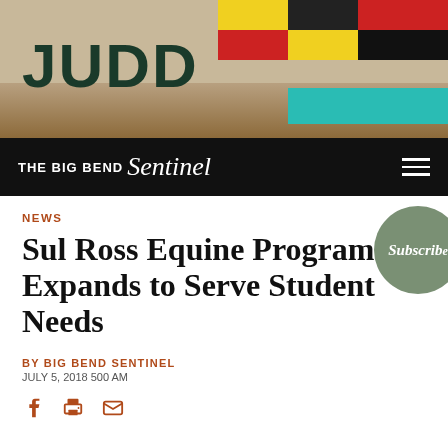[Figure (photo): Header banner showing desk with rolled papers and colorful geometric storage boxes (yellow, black, red, teal) with the word JUDD in large bold dark green text on the left]
THE BIG BEND Sentinel
NEWS
Sul Ross Equine Program Expands to Serve Student Needs
BY BIG BEND SENTINEL
JULY 5, 2018 500 AM